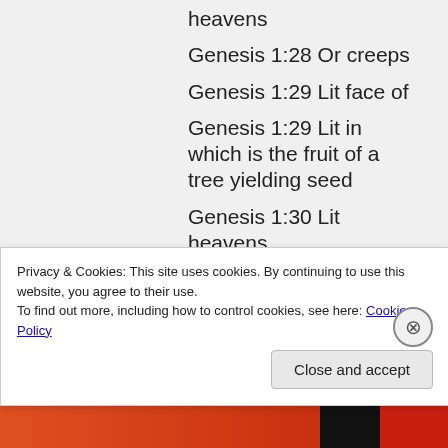heavens
Genesis 1:28 Or creeps
Genesis 1:29 Lit face of
Genesis 1:29 Lit in which is the fruit of a tree yielding seed
Genesis 1:30 Lit heavens
Genesis 1:30 Or
Privacy & Cookies: This site uses cookies. By continuing to use this website, you agree to their use.
To find out more, including how to control cookies, see here: Cookie Policy
Close and accept